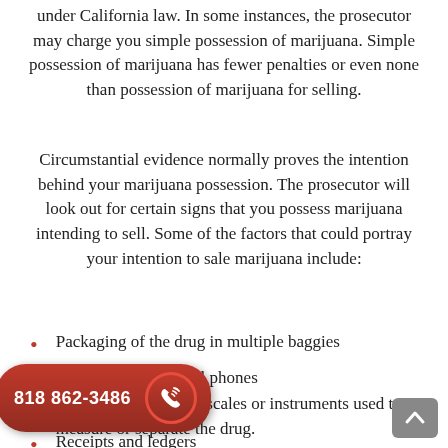under California law.  In some instances, the prosecutor may charge you simple possession of marijuana. Simple possession of marijuana has fewer penalties or even none than possession of marijuana for selling.
Circumstantial evidence normally proves the intention behind your marijuana possession. The prosecutor will look out for certain signs that you possess marijuana intending to sell. Some of the factors that could portray your intention to sale marijuana include:
Packaging of the drug in multiple baggies
Presence of many cell phones
Presence of weighing scales or instruments used to measure or separate the drug.
Receipts and ledgers